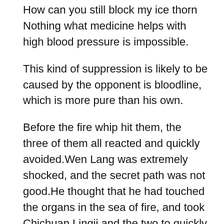How can you still block my ice thorn Nothing what medicine helps with high blood pressure is impossible.
This kind of suppression is likely to be caused by the opponent is bloodline, which is more pure than his own.
Before the fire whip hit them, the three of them all reacted and quickly avoided.Wen Lang was extremely shocked, and the secret path was not good.He thought that he had touched the organs in the sea of fire, and took Chichuan Lingji and the two to quickly leave towards the edge of the sea of fire.
The Lord of Ten Thousand Demons looked at the phantom of the Heavenly Demon Emperor that was on the verge of being shattered, and his heart was shocked, and he said coldly, Who the hell are you Zhao Ling said nothing, and looked at the Wan Yao City what medicine helps with high blood pressure Lord coldly.